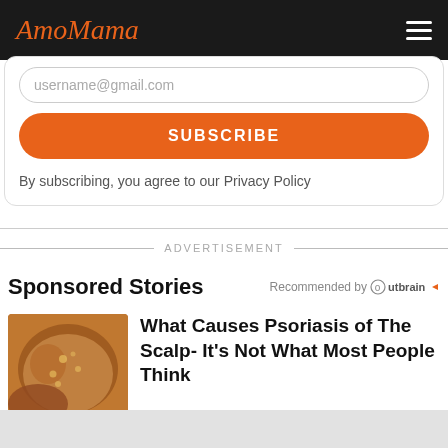AmoMama
username@gmail.com
SUBSCRIBE
By subscribing, you agree to our Privacy Policy
ADVERTISEMENT
Sponsored Stories
Recommended by Outbrain
[Figure (photo): Close-up photo of a human scalp with psoriasis or skin condition visible]
What Causes Psoriasis of The Scalp- It’s Not What Most People Think